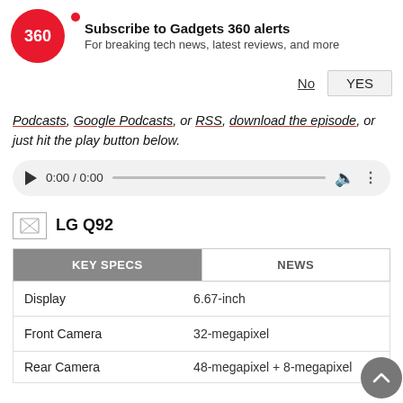[Figure (logo): Gadgets 360 red circular logo with '360' text]
Subscribe to Gadgets 360 alerts
For breaking tech news, latest reviews, and more
No  YES
Podcasts, Google Podcasts, or RSS, download the episode, or just hit the play button below.
[Figure (other): Audio player with play button, time 0:00 / 0:00, progress bar, volume and more icons]
[Figure (photo): LG Q92 product image placeholder]
LG Q92
| KEY SPECS | NEWS |
| --- | --- |
|  |  |
| --- | --- |
| Display | 6.67-inch |
| Front Camera | 32-megapixel |
| Rear Camera | 48-megapixel + 8-megapixel |